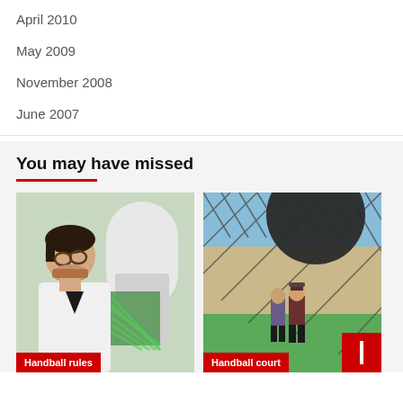April 2010
May 2009
November 2008
June 2007
You may have missed
[Figure (photo): Man with glasses looking at a computer screen in a lab or office setting. Caption overlay: Handball rules]
[Figure (photo): Two people on a handball court viewed through a chain-link fence with a large dark ball in foreground. Caption overlay: Handball court]